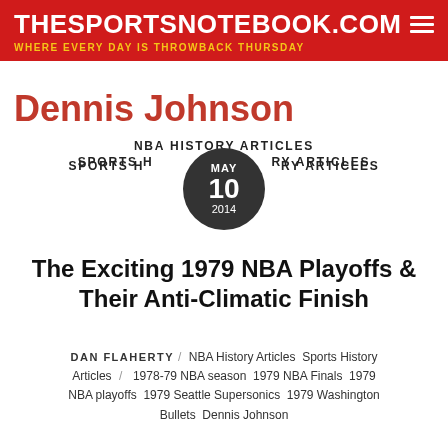THESPORTSNOTEBOOK.COM — WHERE EVERY DAY IS THROWBACK THURSDAY
Dennis Johnson
NBA HISTORY ARTICLES
SPORTS HISTORY ARTICLES
MAY 10 2014
The Exciting 1979 NBA Playoffs & Their Anti-Climatic Finish
DAN FLAHERTY / NBA History Articles Sports History Articles / 1978-79 NBA season 1979 NBA Finals 1979 NBA playoffs 1979 Seattle Supersonics 1979 Washington Bullets Dennis Johnson